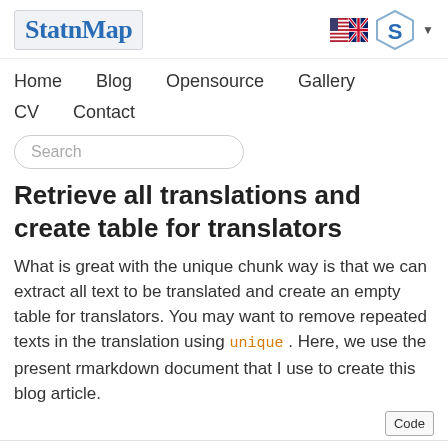StatnMap
Home  Blog  Opensource  Gallery  CV  Contact
Search
Retrieve all translations and create table for translators
What is great with the unique chunk way is that we can extract all text to be translated and create an empty table for translators. You may want to remove repeated texts in the translation using unique . Here, we use the present rmarkdown document that I use to create this blog article.